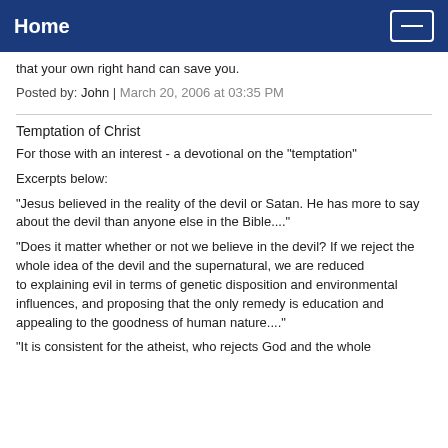Home
that your own right hand can save you.
Posted by: John | March 20, 2006 at 03:35 PM
Temptation of Christ
For those with an interest - a devotional on the "temptation"
Excerpts below:
"Jesus believed in the reality of the devil or Satan. He has more to say about the devil than anyone else in the Bible...."
"Does it matter whether or not we believe in the devil? If we reject the whole idea of the devil and the supernatural, we are reduced to explaining evil in terms of genetic disposition and environmental influences, and proposing that the only remedy is education and appealing to the goodness of human nature...."
"It is consistent for the atheist, who rejects God and the whole